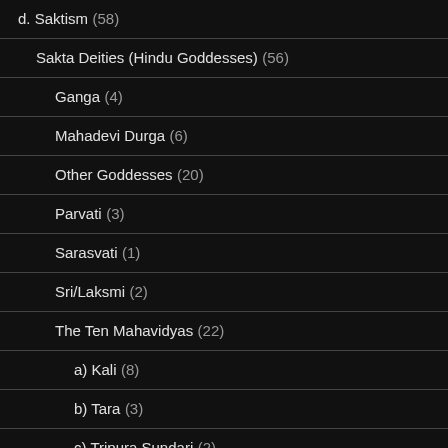d. Saktism (58)
Sakta Deities (Hindu Goddesses) (56)
Ganga (4)
Mahadevi Durga (6)
Other Goddesses (20)
Parvati (3)
Sarasvati (1)
Sri/Laksmi (2)
The Ten Mahavidyas (22)
a) Kali (8)
b) Tara (3)
c) Tripura Sundari (2)
d) Bhuvanewari (2)